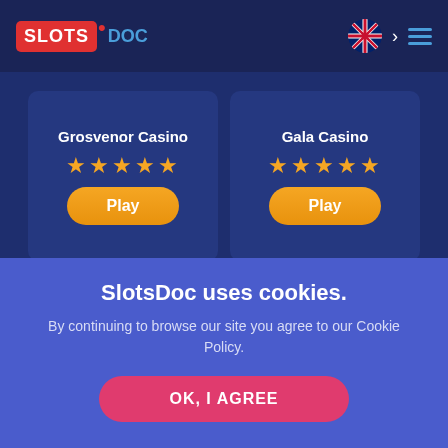[Figure (screenshot): SlotsDoc website header with logo, UK flag icon, chevron, and hamburger menu on dark navy background]
Grosvenor Casino ★★★★★ Play
Gala Casino ★★★★★ Play
Quickspin Slots & Best
SlotsDoc uses cookies.
By continuing to browse our site you agree to our Cookie Policy.
OK, I AGREE